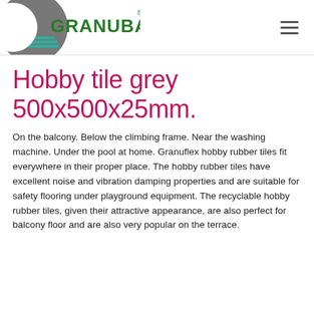[Figure (logo): Granuband logo: grey crescent shape with teal horizontal lines and bold green text 'GRANUBAND' with registered trademark symbol]
Hobby tile grey 500x500x25mm.
On the balcony. Below the climbing frame. Near the washing machine. Under the pool at home. Granuflex hobby rubber tiles fit everywhere in their proper place. The hobby rubber tiles have excellent noise and vibration damping properties and are suitable for safety flooring under playground equipment. The recyclable hobby rubber tiles, given their attractive appearance, are also perfect for balcony floor and are also very popular on the terrace.